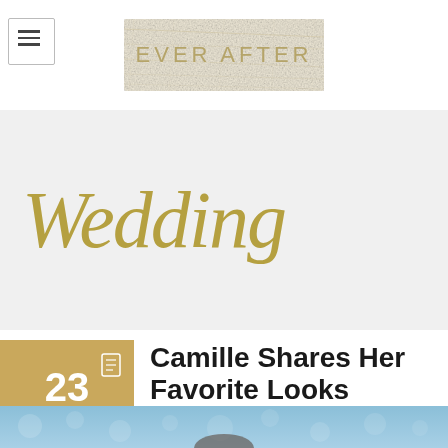EVER AFTER
Wedding
Camille Shares Her Favorite Looks
[Figure (photo): Bottom strip showing a blue/teal bokeh background with partial figure, beginning of a photo article]